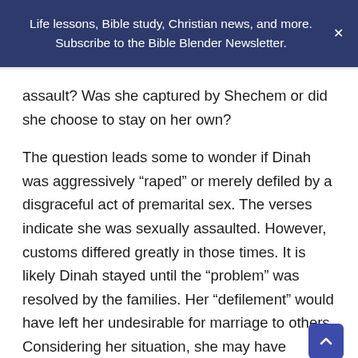Life lessons, Bible study, Christian news, and more. Subscribe to the Bible Blender Newsletter.
assault? Was she captured by Shechem or did she choose to stay on her own?
The question leads some to wonder if Dinah was aggressively “raped” or merely defiled by a disgraceful act of premarital sex. The verses indicate she was sexually assaulted. However, customs differed greatly in those times. It is likely Dinah stayed until the “problem” was resolved by the families. Her “defilement” would have left her undesirable for marriage to others. Considering her situation, she may have